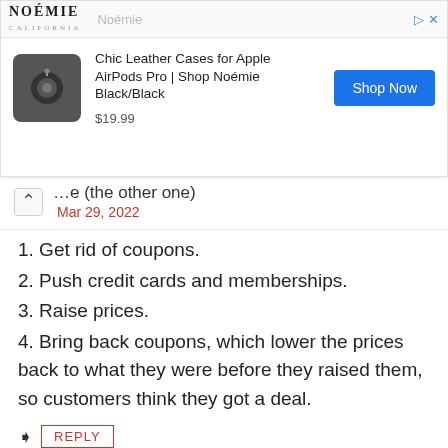[Figure (screenshot): Advertisement banner for Noémie California: Chic Leather Cases for Apple AirPods Pro | Shop Noémie Black/Black, $19.99, Shop Now button]
...e (the other one)
Mar 29, 2022
1. Get rid of coupons.
2. Push credit cards and memberships.
3. Raise prices.
4. Bring back coupons, which lower the prices back to what they were before they raised them, so customers think they got a deal.
REPLY
Miadlor
May 29, 2022
Absolutely. Been meaning to pick up a $5.99 item.... Now $7.99. Memorial day coupon, 25% off. Should be illegal.